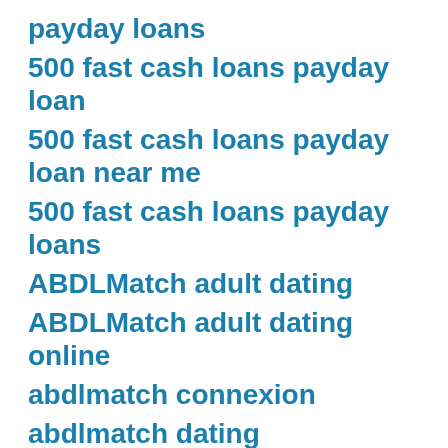payday loans
500 fast cash loans payday loan
500 fast cash loans payday loan near me
500 fast cash loans payday loans
ABDLMatch adult dating
ABDLMatch adult dating online
abdlmatch connexion
abdlmatch dating
abdlmatch mobile site
ABDLmatch review
abdlmatch reviews